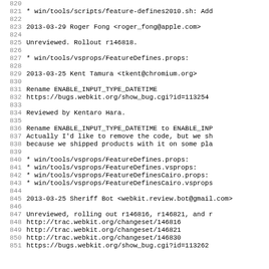Source code / changelog log view lines 820-851
820
821         * win/tools/scripts/feature-defines2010.sh: Add
822
823 2013-03-29  Roger Fong  <roger_fong@apple.com>
824
825         Unreviewed. Rollout r146818.
826
827         * win/tools/vsprops/FeatureDefines.props:
828
829 2013-03-25  Kent Tamura  <tkent@chromium.org>
830
831         Rename ENABLE_INPUT_TYPE_DATETIME
832         https://bugs.webkit.org/show_bug.cgi?id=113254
833
834         Reviewed by Kentaro Hara.
835
836         Rename ENABLE_INPUT_TYPE_DATETIME to ENABLE_INP
837         Actually I'd like to remove the code, but we sh
838         because we shipped products with it on some pla
839
840         * win/tools/vsprops/FeatureDefines.props:
841         * win/tools/vsprops/FeatureDefines.vsprops:
842         * win/tools/vsprops/FeatureDefinesCairo.props:
843         * win/tools/vsprops/FeatureDefinesCairo.vsprops
844
845 2013-03-25  Sheriff Bot  <webkit.review.bot@gmail.com>
846
847         Unreviewed, rolling out r146816, r146821, and r
848         http://trac.webkit.org/changeset/146816
849         http://trac.webkit.org/changeset/146821
850         http://trac.webkit.org/changeset/146830
851         https://bugs.webkit.org/show_bug.cgi?id=113262